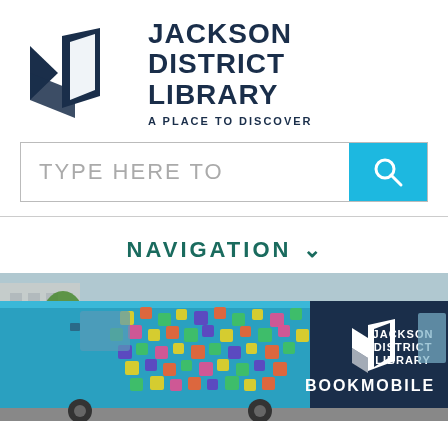[Figure (logo): Jackson District Library logo: dark navy open book/door icon with text 'JACKSON DISTRICT LIBRARY - A PLACE TO DISCOVER']
[Figure (screenshot): Search bar with placeholder text 'TYPE HERE TO' and a cyan/blue search button with magnifying glass icon]
NAVIGATION ∨
[Figure (photo): Jackson District Library Bookmobile vehicle with colorful mosaic design and white library logo and 'BOOKMOBILE' text on side]